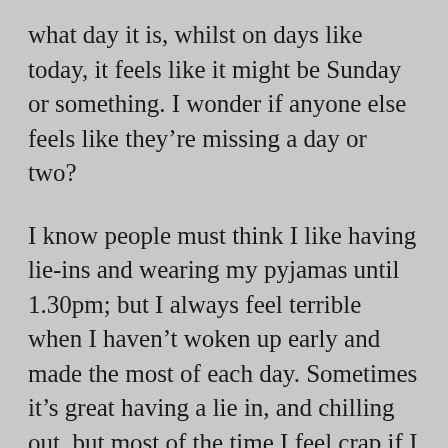what day it is, whilst on days like today, it feels like it might be Sunday or something. I wonder if anyone else feels like they're missing a day or two?
I know people must think I like having lie-ins and wearing my pyjamas until 1.30pm; but I always feel terrible when I haven't woken up early and made the most of each day. Sometimes it's great having a lie in, and chilling out, but most of the time I feel crap if I stay in bed past 10am. I take so long getting ready, that I get quite frustrated with myself!